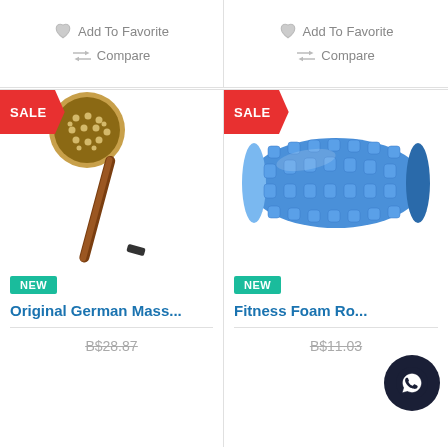[Figure (screenshot): Top row: two product cards each showing Add To Favorite with heart icon and Compare with compare icon, light gray on white background]
Add To Favorite
Compare
Add To Favorite
Compare
[Figure (photo): Original German Mass... back brush with round bristle head and long wooden handle, SALE and NEW badges]
Original German Mass...
B$28.87
[Figure (photo): Fitness Foam Roller in blue, SALE and NEW badges]
Fitness Foam Ro...
B$11.03